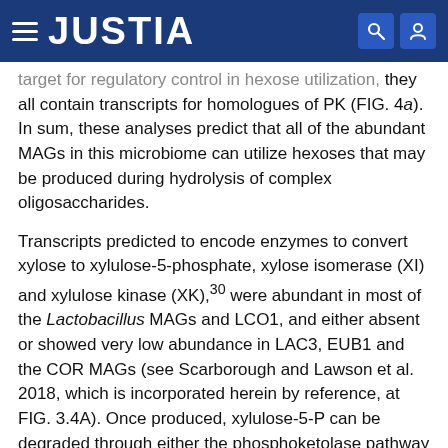JUSTIA
target for regulatory control in hexose utilization, they all contain transcripts for homologues of PK (FIG. 4a). In sum, these analyses predict that all of the abundant MAGs in this microbiome can utilize hexoses that may be produced during hydrolysis of complex oligosaccharides.
Transcripts predicted to encode enzymes to convert xylose to xylulose-5-phosphate, xylose isomerase (XI) and xylulose kinase (XK),30 were abundant in most of the Lactobacillus MAGs and LCO1, and either absent or showed very low abundance in LAC3, EUB1 and the COR MAGs (see Scarborough and Lawson et al. 2018, which is incorporated herein by reference, at FIG. 3.4A). Once produced, xylulose-5-P can be degraded through either the phosphoketolase pathway or the pentose phosphate pathway. Transcripts from a gene predicted to encode the diagnostic enzyme of the